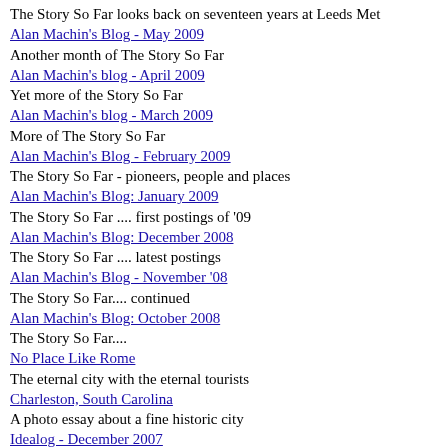The Story So Far looks back on seventeen years at Leeds Met
Alan Machin's Blog - May 2009
Another month of The Story So Far
Alan Machin's blog - April 2009
Yet more of the Story So Far
Alan Machin's blog - March 2009
More of The Story So Far
Alan Machin's Blog - February 2009
The Story So Far - pioneers, people and places
Alan Machin's Blog: January 2009
The Story So Far .... first postings of '09
Alan Machin's Blog: December 2008
The Story So Far .... latest postings
Alan Machin's Blog - November '08
The Story So Far.... continued
Alan Machin's Blog: October 2008
The Story So Far....
No Place Like Rome
The eternal city with the eternal tourists
Charleston, South Carolina
A photo essay about a fine historic city
Idealog - December 2007
Ideas, notes and comments
Idealog - November 2007